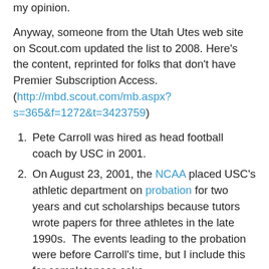my opinion.
Anyway, someone from the Utah Utes web site on Scout.com updated the list to 2008. Here's the content, reprinted for folks that don't have Premier Subscription Access. (http://mbd.scout.com/mb.aspx?s=365&f=1272&t=3423759)
Pete Carroll was hired as head football coach by USC in 2001.
On August 23, 2001, the NCAA placed USC's athletic department on probation for two years and cut scholarships because tutors wrote papers for three athletes in the late 1990s. The events leading to the probation were before Carroll's time, but I include this for completeness sake.
In 2002, the father of USC tailback Justin Fargas